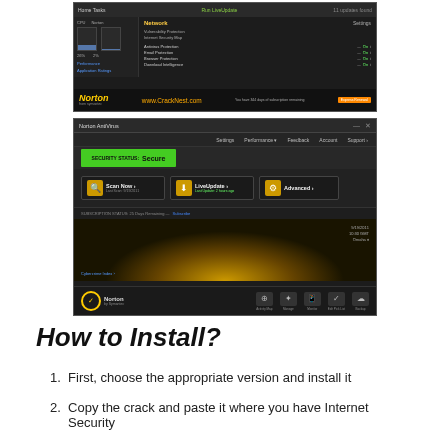[Figure (screenshot): Norton Internet Security interface screenshot showing Network settings panel with protection options including Antivirus Protection, Email Protection, Browser Protection, and Download Intelligence, all showing On status. Norton branding with www.CrackNest.com watermark.]
[Figure (screenshot): Norton AntiVirus application screenshot showing main dashboard with Security Status: Secure, Scan Now, LiveUpdate, and Advanced buttons. World map background with gold glow. Bottom bar with Activity Map, Manage, Monitor, Edit Pick List, and Backup icons.]
How to Install?
First, choose the appropriate version and install it
Copy the crack and paste it where you have Internet Security